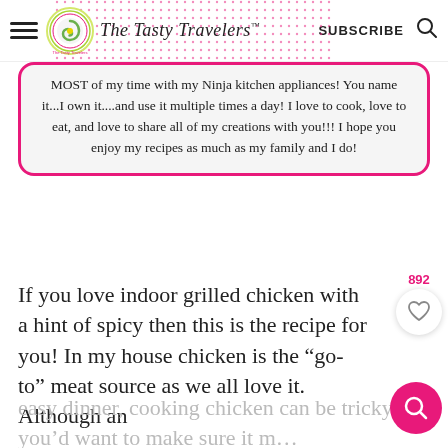The Tasty Travelers — SUBSCRIBE
MOST of my time with my Ninja kitchen appliances! You name it...I own it....and use it multiple times a day! I love to cook, love to eat, and love to share all of my creations with you!!! I hope you enjoy my recipes as much as my family and I do!
If you love indoor grilled chicken with a hint of spicy then this is the recipe for you! In my house chicken is the “go-to” meat source as we all love it. Although an easy dinner, cooking chicken can be tricky as you’d want to make sure it m…